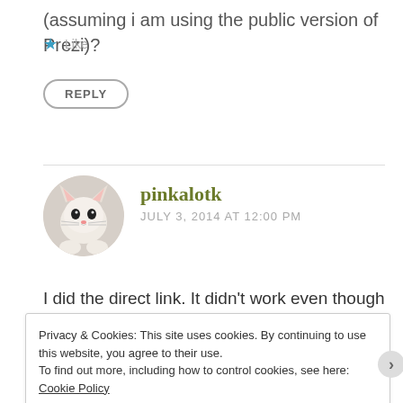(assuming i am using the public version of Prezi)?
★ Like
REPLY
pinkalotk
JULY 3, 2014 AT 12:00 PM
I did the direct link. It didn't work even though I double checked the code.
Privacy & Cookies: This site uses cookies. By continuing to use this website, you agree to their use.
To find out more, including how to control cookies, see here: Cookie Policy
Close and accept